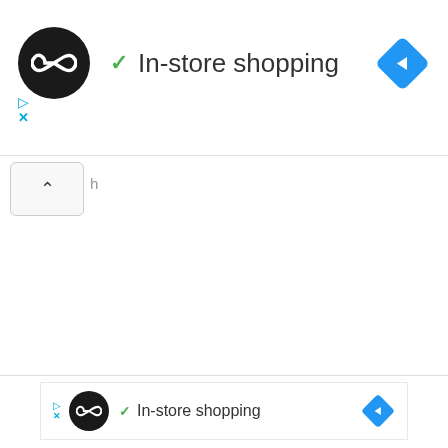[Figure (screenshot): Top ad banner with black circular logo containing infinity symbol, green checkmark, 'In-store shopping' text, and blue navigation diamond icon on right. Below: cyan play and close (X) ad controls. A collapse button with up caret and partial text 'h' visible. Bottom section shows same ad repeated in smaller format.]